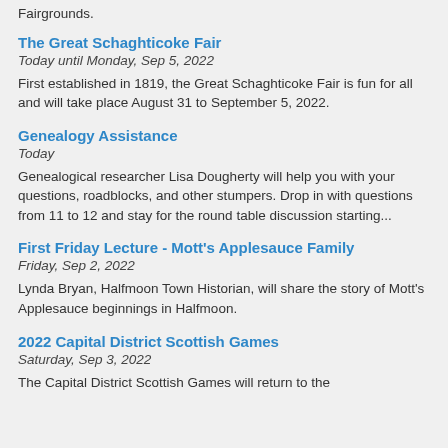Fairgrounds.
The Great Schaghticoke Fair
Today until Monday, Sep 5, 2022
First established in 1819, the Great Schaghticoke Fair is fun for all and will take place August 31 to September 5, 2022.
Genealogy Assistance
Today
Genealogical researcher Lisa Dougherty will help you with your questions, roadblocks, and other stumpers. Drop in with questions from 11 to 12 and stay for the round table discussion starting...
First Friday Lecture - Mott's Applesauce Family
Friday, Sep 2, 2022
Lynda Bryan, Halfmoon Town Historian, will share the story of Mott's Applesauce beginnings in Halfmoon.
2022 Capital District Scottish Games
Saturday, Sep 3, 2022
The Capital District Scottish Games will return to the